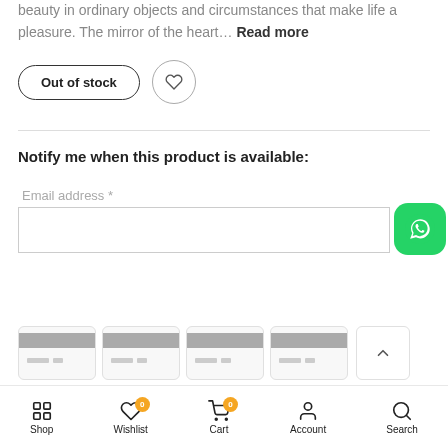beauty in ordinary objects and circumstances that make life a pleasure. The mirror of the heart... Read more
[Figure (screenshot): Out of stock button and heart/wishlist icon button]
Notify me when this product is available:
Email address *
[Figure (screenshot): WhatsApp contact button (green rounded square with WhatsApp logo)]
[Figure (screenshot): Email me when available button]
[Figure (screenshot): Payment card icons row with scroll-up button]
Shop  Wishlist  Cart  Account  Search